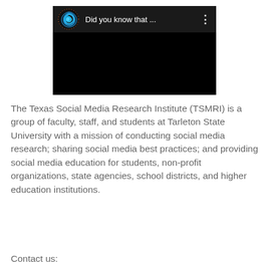[Figure (screenshot): A video thumbnail with black background and a top bar showing a blue swirl logo and the text 'Did you know that ...' with a three-dot menu icon on the right.]
The Texas Social Media Research Institute (TSMRI) is a group of faculty, staff, and students at Tarleton State University with a mission of conducting social media research; sharing social media best practices; and providing social media education for students, non-profit organizations, state agencies, school districts, and higher education institutions.
Contact us: